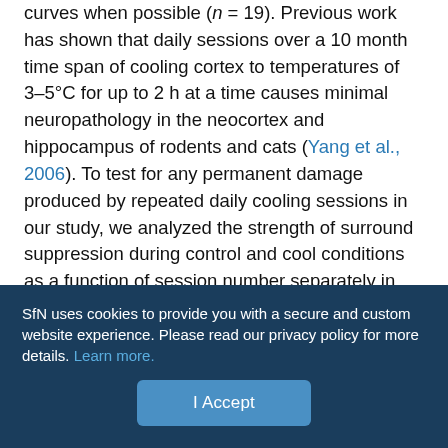curves when possible (n = 19). Previous work has shown that daily sessions over a 10 month time span of cooling cortex to temperatures of 3–5°C for up to 2 h at a time causes minimal neuropathology in the neocortex and hippocampus of rodents and cats (Yang et al., 2006). To test for any permanent damage produced by repeated daily cooling sessions in our study, we analyzed the strength of surround suppression during control and cool conditions as a function of session number separately in each monkey. Feedback inactivation effects (increases or decreases in percentage surround suppression during cooling) were observed for early and late sessions in both monkeys, and we observed no decrease in the precooling percentage surround suppression over multiple sessions. We take this as evidence that repeated cooling…
SfN uses cookies to provide you with a secure and custom website experience. Please read our privacy policy for more details. Learn more.